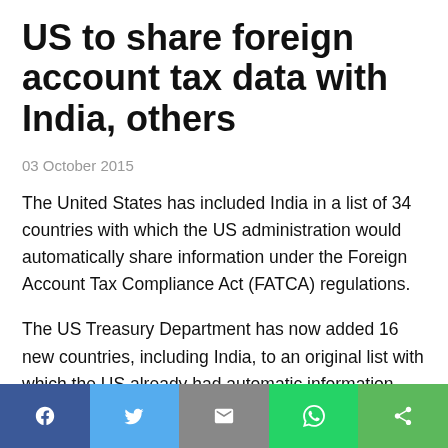US to share foreign account tax data with India, others
03 October 2015
The United States has included India in a list of 34 countries with which the US administration would automatically share information under the Foreign Account Tax Compliance Act (FATCA) regulations.
The US Treasury Department has now added 16 new countries, including India, to an original list with which the US already had automatic information sharing arrangement under FATCA law.